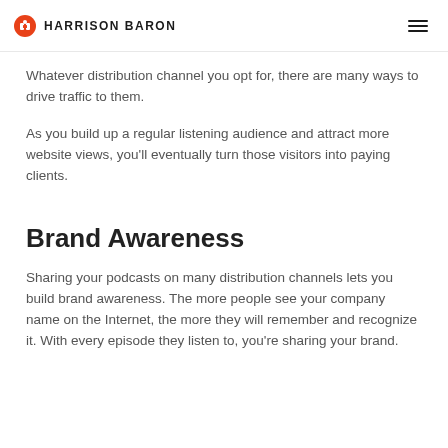HARRISON BARON
Whatever distribution channel you opt for, there are many ways to drive traffic to them.
As you build up a regular listening audience and attract more website views, you'll eventually turn those visitors into paying clients.
Brand Awareness
Sharing your podcasts on many distribution channels lets you build brand awareness. The more people see your company name on the Internet, the more they will remember and recognize it. With every episode they listen to, you're sharing your brand.